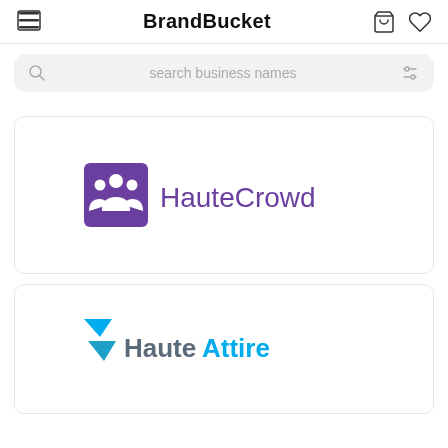BrandBucket
search business names
[Figure (logo): HauteCrowd logo — purple square with crowd of people icon and purple text 'HauteCrowd']
[Figure (logo): HauteAttire logo — teal and cyan chevron/arrow icon with text 'HauteAttire' in blue-grey and teal]